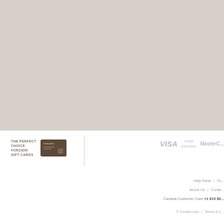[Figure (other): Large light beige/gray image area at the top of the page — product or promotional image area (blank/placeholder)]
THE PERFECT CHOICE
FORZIERI
GIFT CARDS
[Figure (other): Small Forzieri gift card image — dark brown card with logo and design]
[Figure (other): Payment method logos: VISA, VISA Electron, MasterCard]
Help Desk  |  Or...
About Us  |  Conta...
Canada Customer Care +1 819 80...
© Forzieri.com  |  Terms & C...